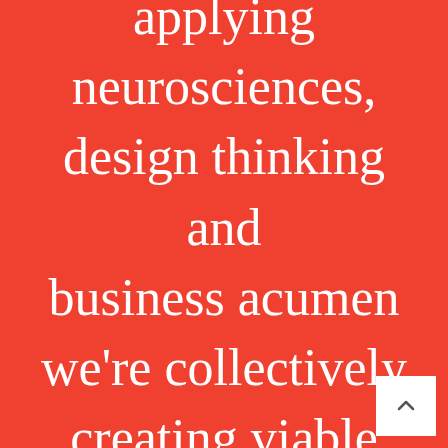applying neurosciences, design thinking and business acumen we're collectively creating viable strategies, beautiful